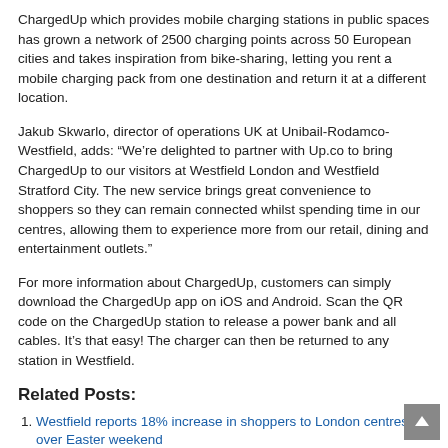ChargedUp which provides mobile charging stations in public spaces has grown a network of 2500 charging points across 50 European cities and takes inspiration from bike-sharing, letting you rent a mobile charging pack from one destination and return it at a different location.
Jakub Skwarlo, director of operations UK at Unibail-Rodamco-Westfield, adds: “We’re delighted to partner with Up.co to bring ChargedUp to our visitors at Westfield London and Westfield Stratford City. The new service brings great convenience to shoppers so they can remain connected whilst spending time in our centres, allowing them to experience more from our retail, dining and entertainment outlets.”
For more information about ChargedUp, customers can simply download the ChargedUp app on iOS and Android. Scan the QR code on the ChargedUp station to release a power bank and all cables. It’s that easy! The charger can then be returned to any station in Westfield.
Related Posts:
Westfield reports 18% increase in shoppers to London centres over Easter weekend
Westfield ‘10 years in the making’ report explores social-economic impact of its centres in the capital
Westfield partners with ELLE for beauty festival